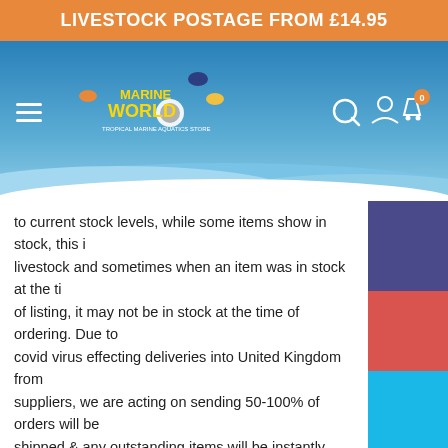LIVESTOCK POSTAGE FROM £14.95
[Figure (screenshot): Marine World Aquatics navigation bar with logo, hamburger menu, search, account, and cart icons]
to current stock levels, while some items show in stock, this is livestock and sometimes when an item was in stock at the time of listing, it may not be in stock at the time of ordering. Due to covid virus effecting deliveries into United Kingdom from suppliers, we are acting on sending 50-100% of orders will be shipped & any outstanding items will be instantly refunded, so please add reserves to avoid disappointment.
LOYALTY REWARDS
Earn rewards as you shop with Marine World Aquatics.
This product will get you 45 points.